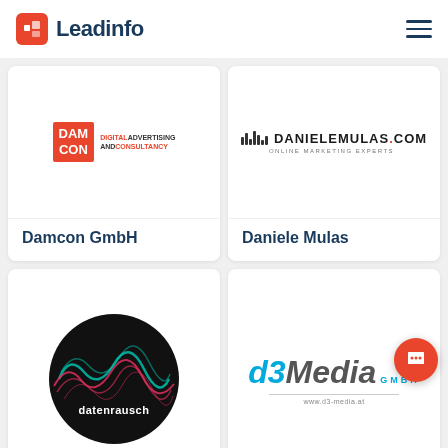Leadinfo
[Figure (logo): Damcon GmbH logo - DAM CON orange box with Digital Advertising and Consultancy text]
Damcon GmbH
[Figure (logo): Daniele Mulas logo - DANIELEMULAS.COM Online Marketing Experts with bar chart icon]
Daniele Mulas
[Figure (logo): datenrausch logo - dark circle with wave/noise pattern and white text]
[Figure (logo): d3 Media GmbH logo - blue italic d3 with grey Media text and website URL]